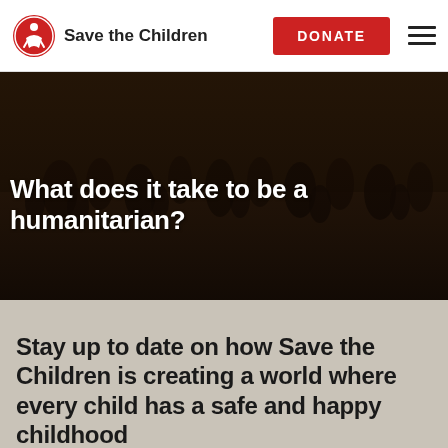Save the Children
[Figure (photo): Dark outdoor scene with crowd of people in background, used as hero banner with overlay]
What does it take to be a humanitarian?
Stay up to date on how Save the Children is creating a world where every child has a safe and happy childhood